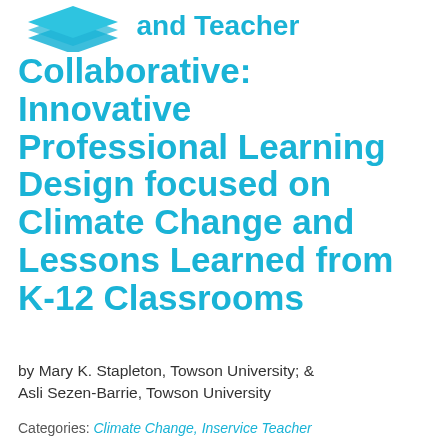[Figure (logo): Book/layers icon in teal with partial title text 'and Teacher' partially visible]
Collaborative: Innovative Professional Learning Design focused on Climate Change and Lessons Learned from K-12 Classrooms
by Mary K. Stapleton, Towson University; & Asli Sezen-Barrie, Towson University
Categories: Climate Change, Inservice Teacher